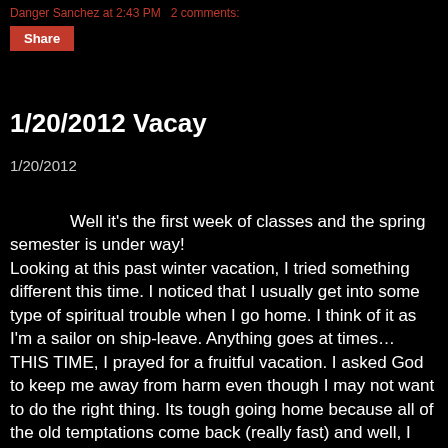Danger Sanchez at 2:43 PM   2 comments:
Share
1/20/2012 Vacay
1/20/2012
Well it's the first week of classes and the spring semester is under way!
Looking at this past winter vacation, I tried something different this time. I noticed that I usually get into some type of spiritual trouble when I go home. I think of it as I'm a sailor on ship-leave. Anything goes at times… THIS TIME, I prayed for a fruitful vacation. I asked God to keep me away from harm even though I may not want to do the right thing. Its tough going home because all of the old temptations come back (really fast) and well, I know that I had to prepare myself for these temptations somehow. So prayer really helped. It turned out great! I had a great time taking my friend from Portland around Southern California and even the Grand Canyon. I noticed that by hanging around my seminarian brothers, I could still have a great time and they too would help